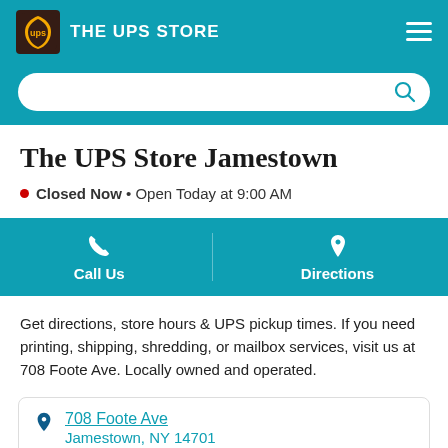THE UPS STORE
The UPS Store Jamestown
Closed Now • Open Today at 9:00 AM
Call Us | Directions
Get directions, store hours & UPS pickup times. If you need printing, shipping, shredding, or mailbox services, visit us at 708 Foote Ave. Locally owned and operated.
708 Foote Ave
Jamestown, NY 14701